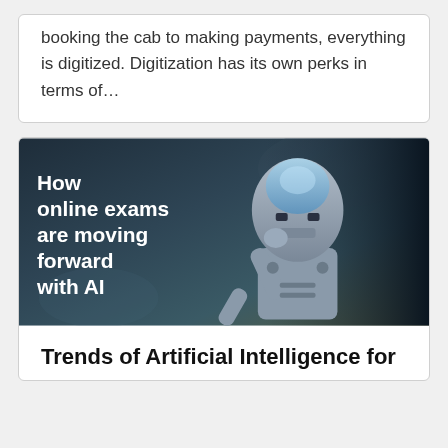booking the cab to making payments, everything is digitized. Digitization has its own perks in terms of…
[Figure (photo): Banner image showing a robotic humanoid AI figure in a thoughtful pose. White bold text overlaid reads: 'How online exams are moving forward with AI']
Trends of Artificial Intelligence for